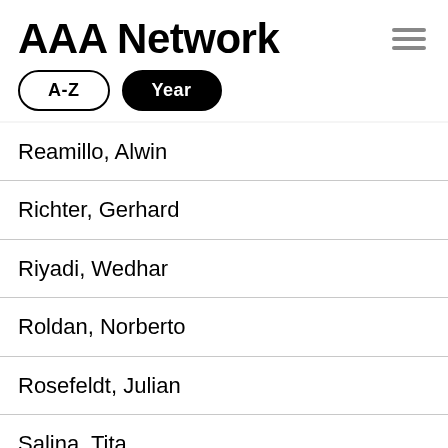AAA Network
A-Z
Year
Reamillo, Alwin
Richter, Gerhard
Riyadi, Wedhar
Roldan, Norberto
Rosefeldt, Julian
Salina, Tita
Sanchez, Kaloy
Sanders, Laura